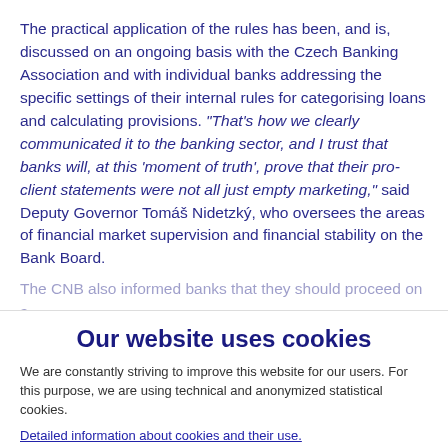The practical application of the rules has been, and is, discussed on an ongoing basis with the Czech Banking Association and with individual banks addressing the specific settings of their internal rules for categorising loans and calculating provisions. "That's how we clearly communicated it to the banking sector, and I trust that banks will, at this 'moment of truth', prove that their pro-client statements were not all just empty marketing," said Deputy Governor Tomáš Nidetzký, who oversees the areas of financial market supervision and financial stability on the Bank Board.
The CNB also informed banks that they should proceed on a
Our website uses cookies
We are constantly striving to improve this website for our users. For this purpose, we are using technical and anonymized statistical cookies.
Detailed information about cookies and their use.
I am familiar with and agree with the use of cookies